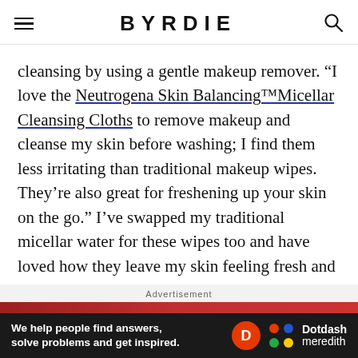BYRDIE
cleansing by using a gentle makeup remover. “I love the Neutrogena Skin Balancing™Micellar Cleansing Cloths to remove makeup and cleanse my skin before washing; I find them less irritating than traditional makeup wipes. They’re also great for freshening up your skin on the go.” I’ve swapped my traditional micellar water for these wipes too and have loved how they leave my skin feeling fresh and clean in the morning.
Advertisement
[Figure (other): Dotdash Meredith advertisement banner with text: We help people find answers, solve problems and get inspired.]